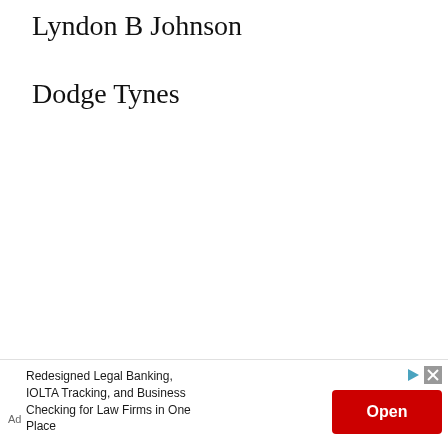Lyndon B Johnson
Dodge Tynes
Luger
[Figure (other): Advertisement banner: 'Redesigned Legal Banking, IOLTA Tracking, and Business Checking for Law Firms in One Place' with an 'Open' button in red, and ad controls (play and close icons). Labeled 'Ad'.]